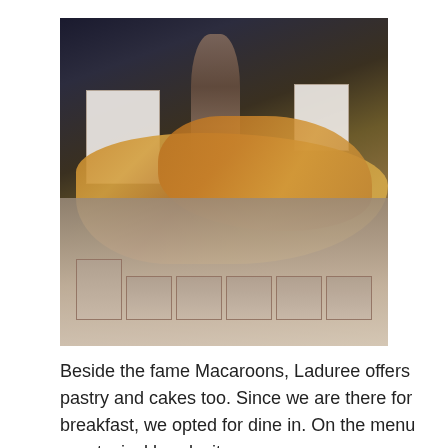[Figure (photo): A bakery display counter showing an assortment of pastries, croissants, and breads arranged on a marble surface. Signs and price cards are placed in front of each item. A tiered stand with pastries is visible in the center background. Macaron display boards are visible on the left and right sides.]
Beside the fame Macaroons, Laduree offers pastry and cakes too. Since we are there for breakfast, we opted for dine in. On the menu was typical breaky items.